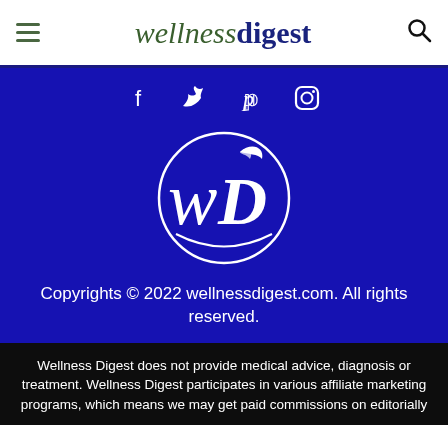wellnessdigest
[Figure (logo): Wellness Digest circular logo with WD monogram and leaf design on dark blue background, with social media icons (Facebook, Twitter, Pinterest, Instagram)]
Copyrights © 2022 wellnessdigest.com. All rights reserved.
Wellness Digest does not provide medical advice, diagnosis or treatment. Wellness Digest participates in various affiliate marketing programs, which means we may get paid commissions on editorially